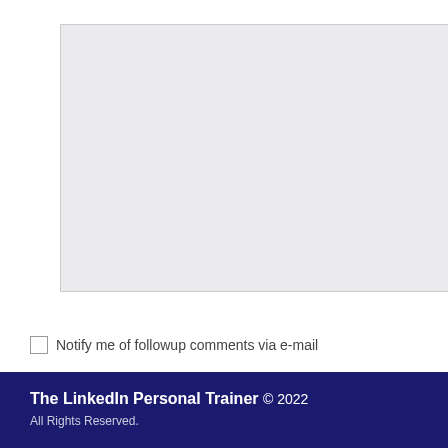[Figure (screenshot): A large empty textarea input box with a light gray background and thin border, used for entering a comment.]
Submit Comment
Notify me of followup comments via e-mail
The LinkedIn Personal Trainer © 2022 All Rights Reserved.